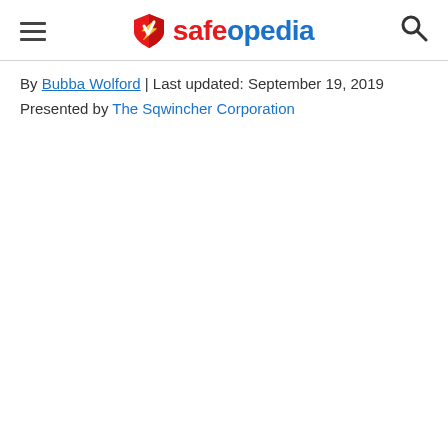safeopedia [logo with hamburger menu and search icon]
By Bubba Wolford | Last updated: September 19, 2019
Presented by The Sqwincher Corporation